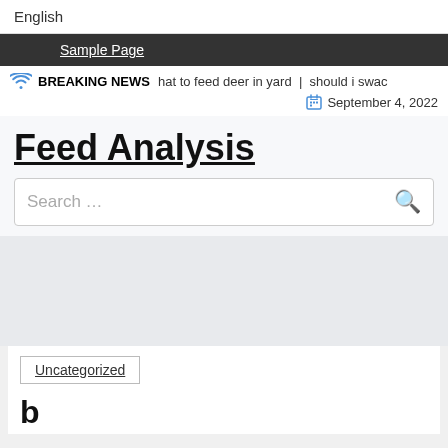English
Sample Page
BREAKING NEWS  hat to feed deer in yard  |  should i swac
September 4, 2022
Feed Analysis
Search …
Uncategorized